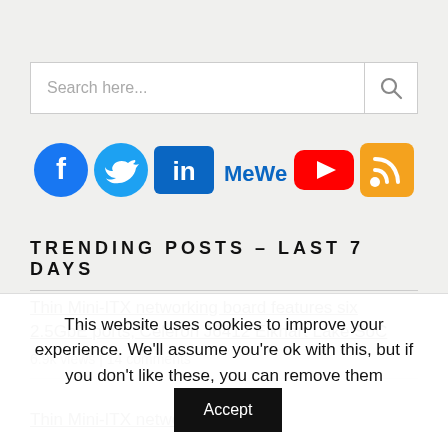Search here...
[Figure (other): Social media icons: Facebook, Twitter, LinkedIn, MeWe, YouTube, RSS feed]
TRENDING POSTS – LAST 7 DAYS
Thin Mini-ITX networking board features six 2.5GbE ports, Celeron J6412 Elkhart Lake SoC
6.9k views | 14 comments
Thin Mini-ITX networking board...
This website uses cookies to improve your experience. We'll assume you're ok with this, but if you don't like these, you can remove them  Accept